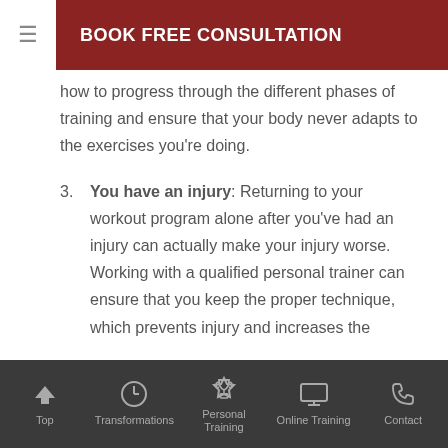BOOK FREE CONSULTATION
how to progress through the different phases of training and ensure that your body never adapts to the exercises you're doing.
3. You have an injury: Returning to your workout program alone after you've had an injury can actually make your injury worse. Working with a qualified personal trainer can ensure that you keep the proper technique, which prevents injury and increases the
Top | Transformations | Personal Training | Online Training | Contact